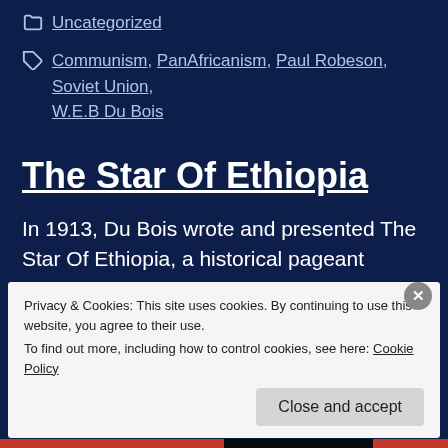Uncategorized
Communism, PanAfricanism, Paul Robeson, Soviet Union, W.E.B Du Bois
The Star Of Ethiopia
In 1913, Du Bois wrote and presented The Star Of Ethiopia, a historical pageant chronicling the
Privacy & Cookies: This site uses cookies. By continuing to use this website, you agree to their use.
To find out more, including how to control cookies, see here: Cookie Policy
Close and accept